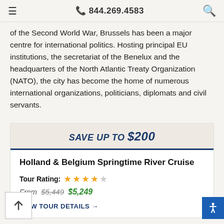☰  📞 844.269.4583  🔍
of the Second World War, Brussels has been a major centre for international politics. Hosting principal EU institutions, the secretariat of the Benelux and the headquarters of the North Atlantic Treaty Organization (NATO), the city has become the home of numerous international organizations, politicians, diplomats and civil servants.
SAVE UP TO $200
Holland & Belgium Springtime River Cruise
Tour Rating: ★★★★☆
From $5,449 $5,249
VIEW TOUR DETAILS →